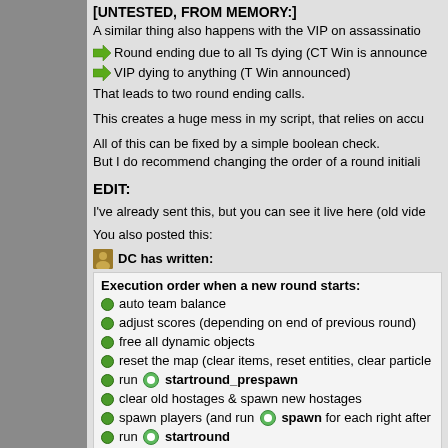[UNTESTED, FROM MEMORY:]
A similar thing also happens with the VIP on assassinatio
Round ending due to all Ts dying (CT Win is announce
VIP dying to anything (T Win announced)
That leads to two round ending calls.
This creates a huge mess in my script, that relies on accu
All of this can be fixed by a simple boolean check.
But I do recommend changing the order of a round initiali
EDIT:
I've already sent this, but you can see it live here (old vide
You also posted this:
DC has written:
Execution order when a new round starts:
auto team balance
adjust scores (depending on end of previous round)
free all dynamic objects
reset the map (clear items, reset entities, clear particle
run startround_prespawn
clear old hostages & spawn new hostages
spawn players (and run spawn for each right after
run startround
reset/start bot AI
optionally trigger an automatic map change if conditio
And no, that order isn't perfect. It just grew like that and